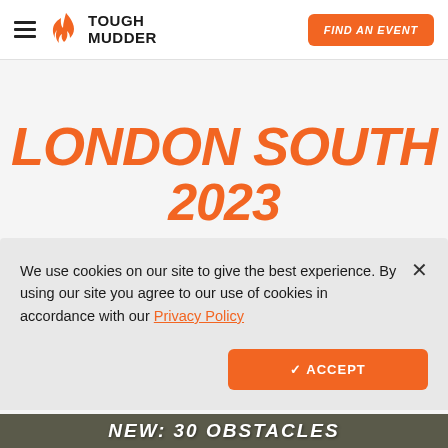Tough Mudder — FIND AN EVENT
LONDON SOUTH 2023
We use cookies on our site to give the best experience. By using our site you agree to our use of cookies in accordance with our Privacy Policy
✓ ACCEPT
[Figure (photo): NEW: 30 OBSTACLES banner/photo strip at bottom]